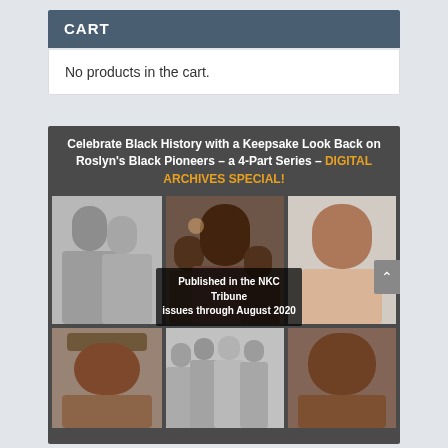CART
No products in the cart.
[Figure (illustration): Promotional banner for 'Celebrate Black History with a Keepsake Look Back on Roslyn's Black Pioneers – a 4-Part Series – DIGITAL ARCHIVES SPECIAL!' with a collage of six photographs of Black community members and text overlay reading 'Published in the NKC Tribune issues through August 2020']